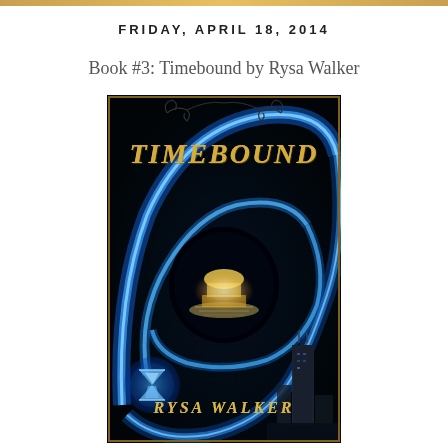FRIDAY, APRIL 18, 2014
Book #3: Timebound by Rysa Walker
[Figure (photo): Book cover of 'Timebound' by Rysa Walker. Dark background with swirling blue and teal light trails forming a vortex/spiral pattern. In the center is a glowing illuminated building/pavilion reflected on water. The title 'TIMEBOUND' is displayed in gold/tan decorative lettering at the top. Author name 'RYSA WALKER' appears at the bottom in the same gold lettering. A glowing blue hourglass is in the lower left, and a city skyline with a tall skyscraper is visible in the lower right.]